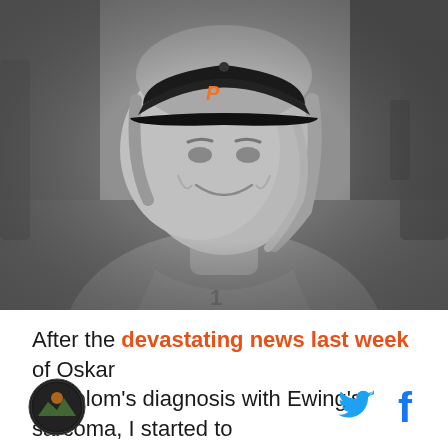[Figure (photo): Black and white photo of a young man (Oskar Lindblom) smiling, wearing a Philadelphia Flyers cap and a hoodie, with equipment visible in the background.]
After the devastating news last week of Oskar Lindblom's diagnosis with Ewing's sarcoma, I started to
[Figure (logo): Circular sports website logo with dark background and orange/green design elements]
[Figure (illustration): Twitter bird icon in cyan/blue color]
[Figure (illustration): Facebook 'f' icon in blue color]